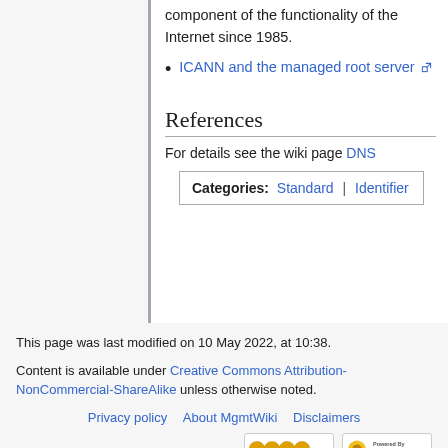Name System has been an essential component of the functionality of the Internet since 1985.
ICANN and the managed root server
References
For details see the wiki page DNS
Categories: Standard | Identifier
This page was last modified on 10 May 2022, at 10:38.
Content is available under Creative Commons Attribution-NonCommercial-ShareAlike unless otherwise noted.
Privacy policy | About MgmtWiki | Disclaimers